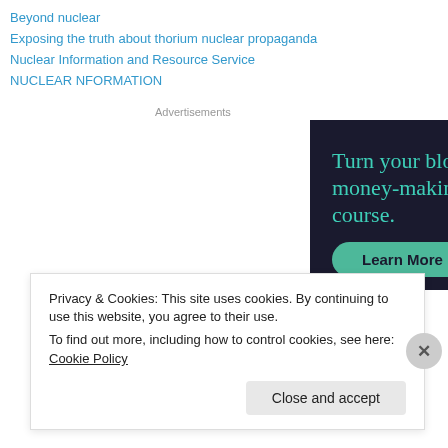Beyond nuclear
Exposing the truth about thorium nuclear propaganda
Nuclear Information and Resource Service
NUCLEAR NFORMATION
Advertisements
[Figure (screenshot): Advertisement banner with dark background reading 'Turn your blog into a money-making online course.' with a teal 'Learn More' button]
Privacy & Cookies: This site uses cookies. By continuing to use this website, you agree to their use.
To find out more, including how to control cookies, see here: Cookie Policy
Close and accept